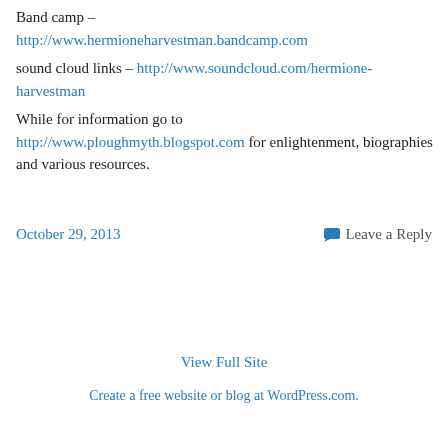Band camp – http://www.hermioneharvestman.bandcamp.com
sound cloud links – http://www.soundcloud.com/hermione-harvestman
While for information go to http://www.ploughmyth.blogspot.com for enlightenment, biographies and various resources.
October 29, 2013
Leave a Reply
View Full Site
Create a free website or blog at WordPress.com.